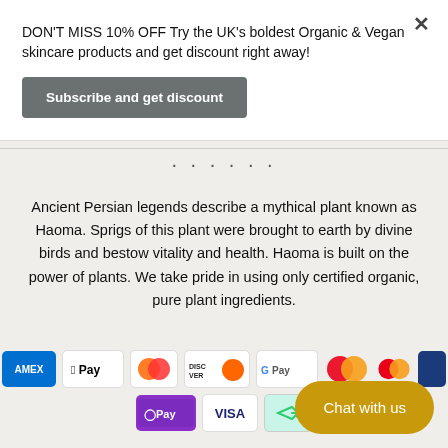DON'T MISS 10% OFF Try the UK's boldest Organic & Vegan skincare products and get discount right away!
Subscribe and get discount
Ancient Persian legends describe a mythical plant known as Haoma. Sprigs of this plant were brought to earth by divine birds and bestow vitality and health. Haoma is built on the power of plants. We take pride in using only certified organic, pure plant ingredients.
[Figure (infographic): Payment method icons: AMEX, Apple Pay, Diners Club, Discover, Google Pay, Mastercard circles, OPay, Visa, and a returns/tracking icon]
Chat with us